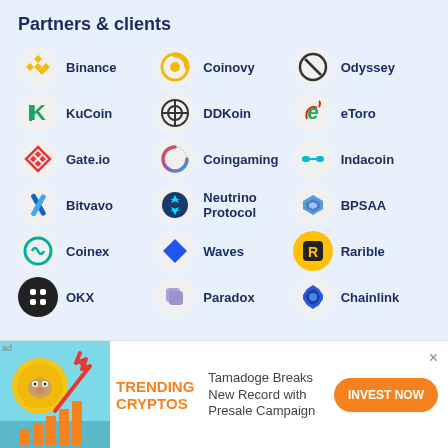Partners & clients
[Figure (infographic): Grid of partner and client logos including Binance, Coinovy, Odyssey, KuCoin, DDKoin, eToro, Gate.io, Coingaming, Indacoin, Bitvavo, Neutrino Protocol, BPSAA, Coinex, Waves, Rarible, OKX, Paradox, Chainlink]
[Figure (infographic): Advertisement banner: TRENDING CRYPTOS with dog/coin image. Text: Tamadoge Breaks New Record with Presale Campaign. Button: INVEST NOW]